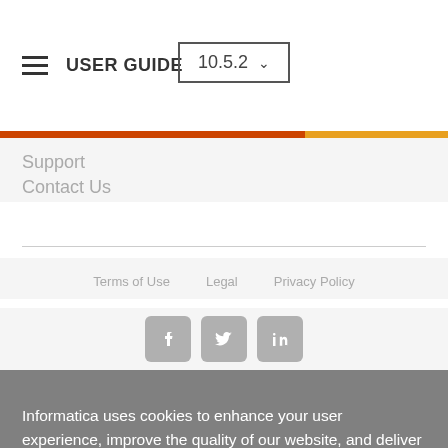USER GUIDE   10.5.2
Support
Contact Us
Terms of Use   Legal   Privacy Policy
[Figure (infographic): Social media icons: Facebook, Twitter, LinkedIn]
Informatica uses cookies to enhance your user experience, improve the quality of our website, and deliver advertising and other content tailored to your interests. Some jurisdictions' privacy laws offer their residents specific privacy rights, which we respect